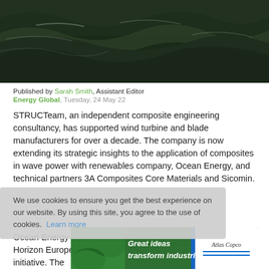[Figure (photo): Ocean wave photograph with dark green churning water]
Published by Sarah Smith, Assistant Editor
Energy Global, Tuesday, 24 May 22
STRUCTeam, an independent composite engineering consultancy, has supported wind turbine and blade manufacturers for over a decade. The company is now extending its strategic insights to the application of composites in wave power with renewables company, Ocean Energy, and technical partners 3A Composites Core Materials and Sicomin.
We use cookies to ensure you get the best experience on our website. By using this site, you agree to the use of cookies. Learn more
[Figure (illustration): Atlas Copco advertisement: Great ideas transform industries.]
Ocean Energy approached STRUCTeam for support with a Horizon European Framework Programme, an EU funding initiative. The